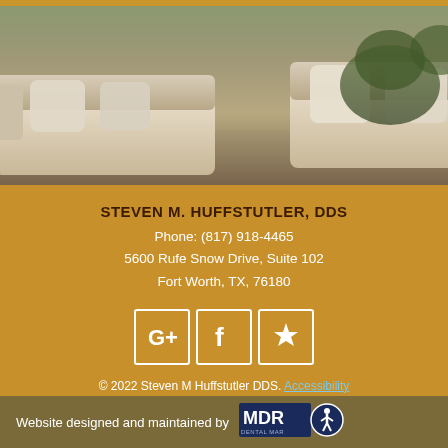[Figure (photo): Photo of a comfortable waiting room or lounge area with white/light gray upholstered sofas with pillows, a dark round coffee table, and green plants in background]
STEVEN M. HUFFSTUTLER, DDS
Phone: (817) 918-4465
5600 Rufe Snow Drive, Suite 102
Fort Worth, TX, 76180
[Figure (logo): Social media icons: Google+, Facebook, Yelp — white icons in orange rounded-square boxes]
© 2022 Steven M Huffstutler DDS. Accessibility Statement. All rights reserved.
Website designed and maintained by MDR Dental Marketing (with accessibility icon logo)